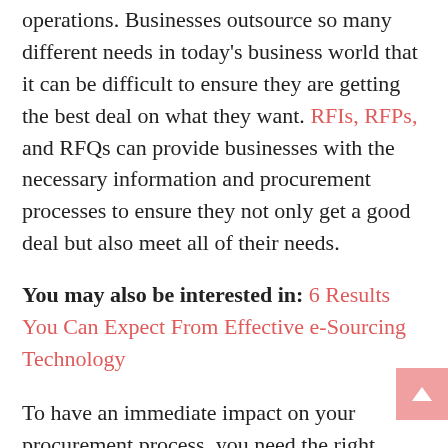operations. Businesses outsource so many different needs in today's business world that it can be difficult to ensure they are getting the best deal on what they want. RFIs, RFPs, and RFQs can provide businesses with the necessary information and procurement processes to ensure they not only get a good deal but also meet all of their needs.
You may also be interested in: 6 Results You Can Expect From Effective e-Sourcing Technology
To have an immediate impact on your procurement process, you need the right software platform. Procurement is complex, and your software solution should be able to account for its nuances. That's where ProcurePort can help. Visit our website to